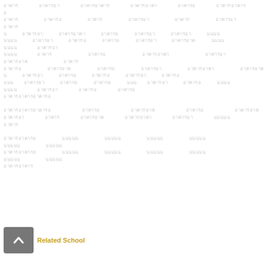[redacted Thai/script text block - body content paragraphs]
[Figure (other): Back navigation button (grey rounded square with upward chevron arrow icon) followed by 'Related School' label in gold/amber color]